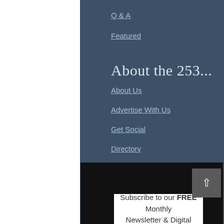Q & A
Featured
About the 253...
About Us
Advertise With Us
Get Social
Directory
Sister Sites
Contact Us
Subscribe to our FREE Monthly Newsletter & Digital